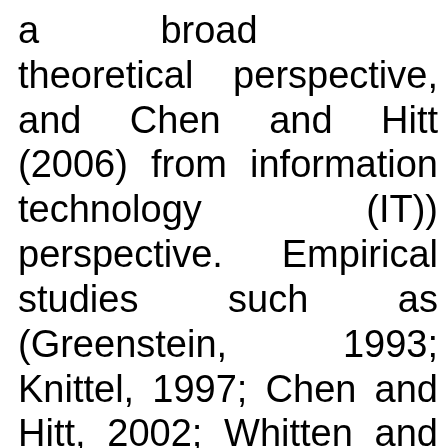a broad theoretical perspective, and Chen and Hitt (2006) from information technology (IT)) perspective. Empirical studies such as (Greenstein, 1993; Knittel, 1997; Chen and Hitt, 2002; Whitten and Wakefield, 2006; Krafft and Salies, 2008; Maicas et al.2009) provide